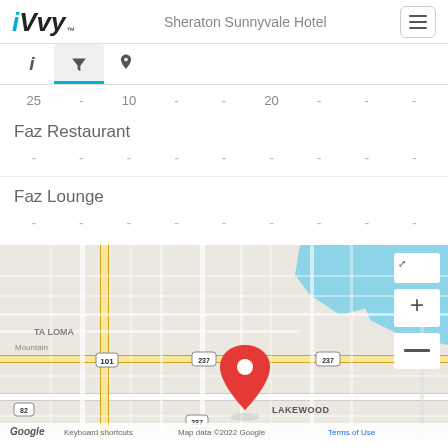iVvy — Sheraton Sunnyvale Hotel
25  -  10  -  -  20  -  -  -
Faz Restaurant
-  -  -  -  -  -  -  -  -
Faz Lounge
-  -  -  -  -  -  -  -  -
[Figure (map): Google Maps screenshot showing Sheraton Sunnyvale Hotel location near Highway 237 and 101, marked with a red pin in the Lakewood area of Sunnyvale, CA. Map data ©2022 Google.]